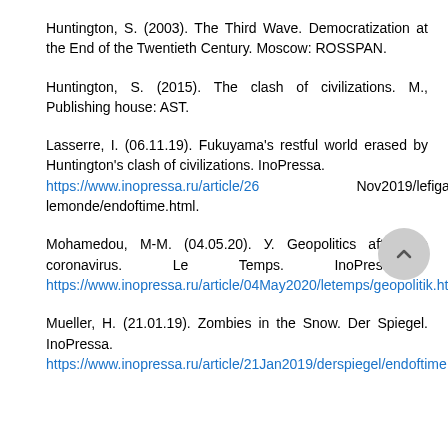Huntington, S. (2003). The Third Wave. Democratization at the End of the Twentieth Century. Moscow: ROSSPAN.
Huntington, S. (2015). The clash of civilizations. M., Publishing house: AST.
Lasserre, I. (06.11.19). Fukuyama's restful world erased by Huntington's clash of civilizations. InoPressa. https://www.inopressa.ru/article/26 Nov2019/lefigaro lemonde/endoftime.html.
Mohamedou, M-M. (04.05.20). У. Geopolitics after the coronavirus. Le Temps. InoPressa. https://www.inopressa.ru/article/04May2020/letemps/geopolitik.html.
Mueller, H. (21.01.19). Zombies in the Snow. Der Spiegel. InoPressa. https://www.inopressa.ru/article/21Jan2019/derspiegel/endoftime.htm